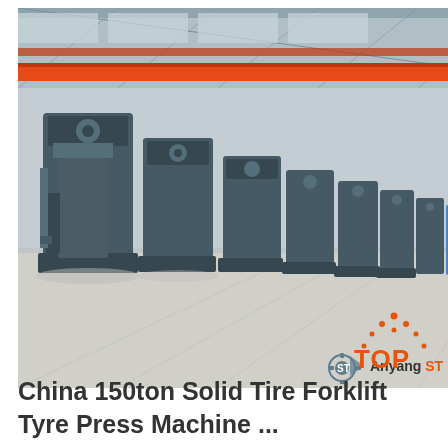[Figure (photo): Factory interior showing a row of large industrial solid tire forklift tyre press machines lined up on a concrete floor under an overhead crane in a large warehouse. A 24/7 online chat widget with a female customer service agent wearing a headset is overlaid on the right side of the image.]
China 150ton Solid Tire Forklift Tyre Press Machine ...